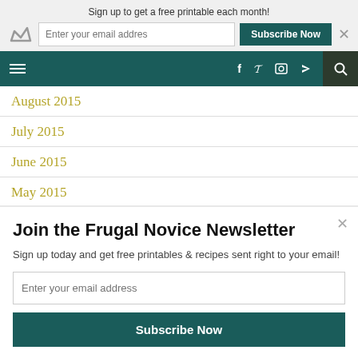Sign up to get a free printable each month!
[Figure (screenshot): Navigation bar with hamburger menu, social icons (f, bird, camera, RSS), and search icon on dark teal background]
August 2015
July 2015
June 2015
May 2015
April 2015
POWERED BY SUMO
March 2015
Join the Frugal Novice Newsletter
Sign up today and get free printables & recipes sent right to your email!